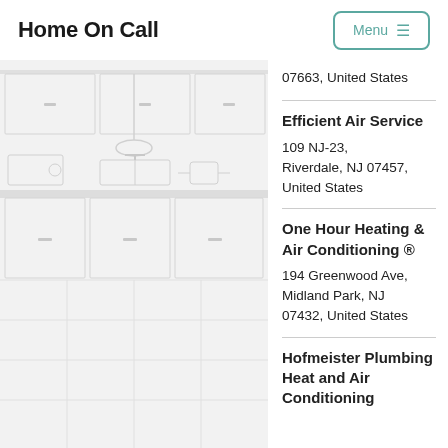Home On Call
[Figure (illustration): Faded kitchen interior background image with cabinet and appliance outlines in light gray]
07663, United States
Efficient Air Service
109 NJ-23, Riverdale, NJ 07457, United States
One Hour Heating & Air Conditioning ®
194 Greenwood Ave, Midland Park, NJ 07432, United States
Hofmeister Plumbing Heat and Air Conditioning